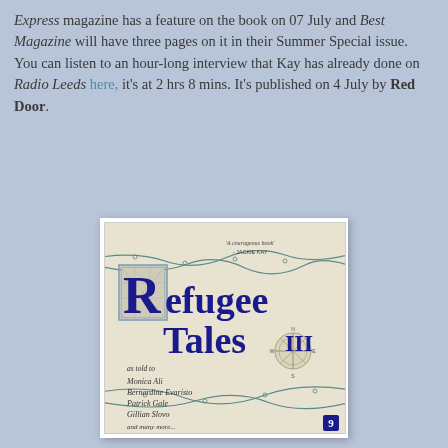Express magazine has a feature on the book on 07 July and Best Magazine will have three pages on it in their Summer Special issue. You can listen to an hour-long interview that Kay has already done on Radio Leeds here, it's at 2 hrs 8 mins. It's published on 4 July by Red Door.
[Figure (illustration): Book cover of 'Refugee Tales III', a collection told to Monica Ali, Bernardine Evaristo, Patrick Gale, Gillian Slovo and many more. The cover has a parchment/aged paper background with blue barbed wire decorative elements. The title is in large dark blue serif font with a decorated 'R'. A compass rose is shown on the right. Quote at top reads 'A courageous book - JACKIE KAY'. Publisher icon in bottom right corner.]